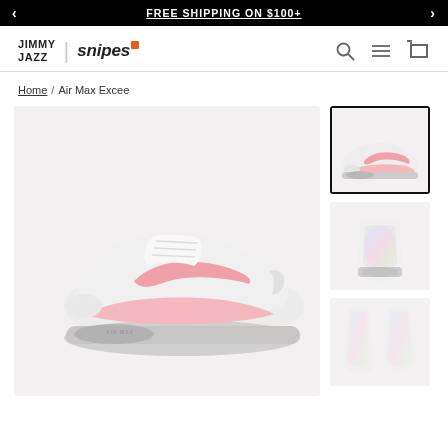FREE SHIPPING ON $100+
[Figure (logo): Jimmy Jazz | Snipes logo with navigation icons (search, menu, cart)]
Home / Air Max Excee
[Figure (photo): Nike Air Max Excee sneaker in white with pink swoosh and accents, side view on light background]
[Figure (photo): Thumbnail: Nike Air Max Excee side view, selected]
[Figure (photo): Thumbnail: Nike Air Max Excee rear/sole view]
[Figure (photo): Thumbnail: Nike Air Max Excee top-down view]